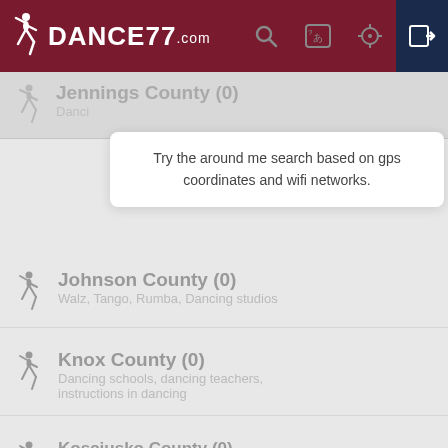[Figure (logo): Dance77.com logo with dancer silhouette on dark red background header bar with search, translate, location, and login icons]
Try the around me search based on gps coordinates and wifi networks.
Jennings County (0)
Dancing schools, dancing places
Johnson County (0)
Walz, Tango, Rumba, Dancing studios
Knox County (0)
Dancing schools, dancing teachers, instructions in dancing
Kosciusko County (0)
Dancing schools, dancing places
LaGrange County (0)